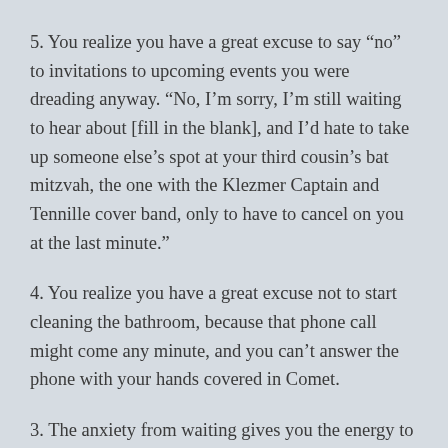5. You realize you have a great excuse to say “no” to invitations to upcoming events you were dreading anyway. “No, I’m sorry, I’m still waiting to hear about [fill in the blank], and I’d hate to take up someone else’s spot at your third cousin’s bat mitzvah, the one with the Klezmer Captain and Tennille cover band, only to have to cancel on you at the last minute.”
4. You realize you have a great excuse not to start cleaning the bathroom, because that phone call might come any minute, and you can’t answer the phone with your hands covered in Comet.
3. The anxiety from waiting gives you the energy to organize the hall closet. (Hey, your partner/roommate/kid can take that giant garbage bag